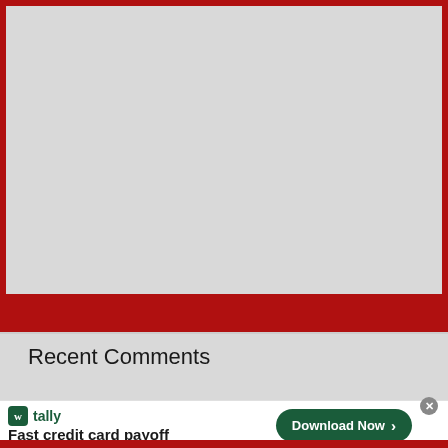[Figure (other): Large grey placeholder image area with dark red border]
Recent Comments
[Figure (other): Tally app advertisement banner: logo, 'Fast credit card payoff', 'Download Now' button, close and help icons]